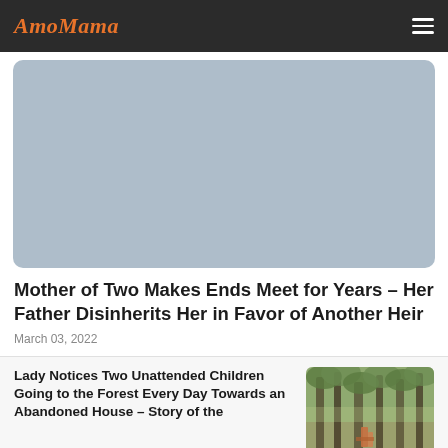AmoMama
[Figure (photo): Large hero image with light blue-gray background, rounded corners]
Mother of Two Makes Ends Meet for Years – Her Father Disinherits Her in Favor of Another Heir
March 03, 2022
Lady Notices Two Unattended Children Going to the Forest Every Day Towards an Abandoned House – Story of the
[Figure (photo): Thumbnail image of a forest path with trees and a person walking]